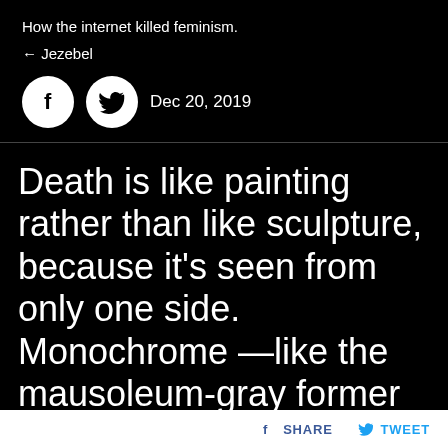How the internet killed feminism.
← Jezebel
Dec 20, 2019
Death is like painting rather than like sculpture, because it's seen from only one side. Monochrome —like the mausoleum-gray former Berlin Wall, which kids in West Berlin glamorized with
f SHARE  🐦 TWEET